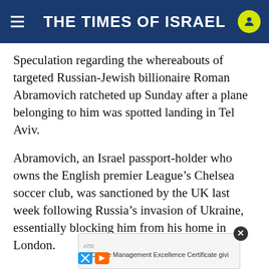THE TIMES OF ISRAEL
Speculation regarding the whereabouts of targeted Russian-Jewish billionaire Roman Abramovich ratcheted up Sunday after a plane belonging to him was spotted landing in Tel Aviv.
Abramovich, an Israel passport-holder who owns the English premier League’s Chelsea soccer club, was sanctioned by the UK last week following Russia’s invasion of Ukraine, essentially blocking him from his home in London.
Portuguese citizenship he acquired last year by claiming Sephardic heritage has also come under scrutiny ... being detain... u the tools to become a better leader.